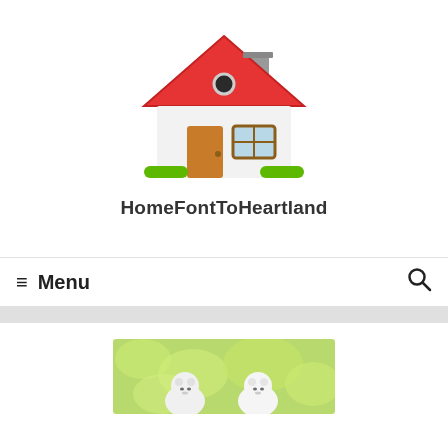[Figure (logo): Cartoon house logo with red roof, chimney, brown door, window, and green bushes]
HomeFontToHeartland
Menu
[Figure (photo): Two small white fluffy dogs on green grass background, partially visible at bottom of page]